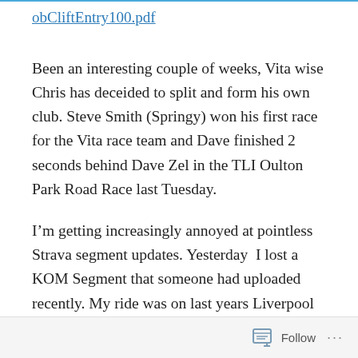obCliftEntry100.pdf
Been an interesting couple of weeks, Vita wise Chris has deceided to split and form his own club. Steve Smith (Springy) won his first race for the Vita race team and Dave finished 2 seconds behind Dave Zel in the TLI Oulton Park Road Race last Tuesday.
I’m getting increasingly annoyed at pointless Strava segment updates. Yesterday  I lost a KOM Segment that someone had uploaded recently. My ride was on last years Liverpool Chester Liverpool. The segment Levers
Follow